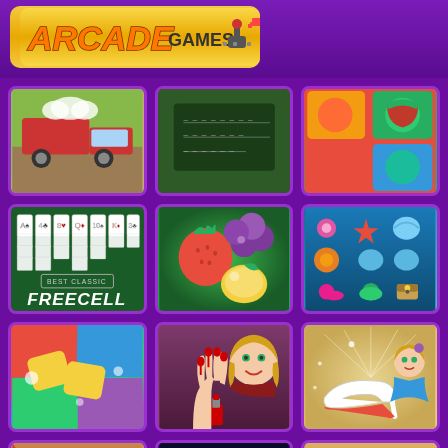[Figure (screenshot): Arcade Games website logo badge with golden background showing 'ARCADE GAMES' text with joystick icon]
[Figure (screenshot): Grid of arcade game thumbnails including: truck game, chalkboard game, fruit match, FreeCell solitaire, fruit saga, ocean match, block puzzle, nail art girl, high heels princess, girl painting, gems/jewels, and wood puzzle games]